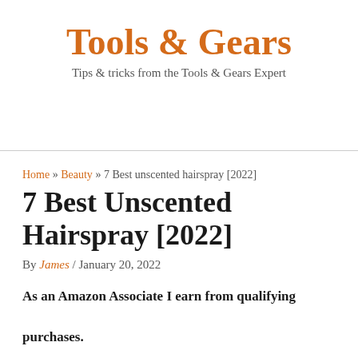Tools & Gears
Tips & tricks from the Tools & Gears Expert
Home » Beauty » 7 Best unscented hairspray [2022]
7 Best Unscented Hairspray [2022]
By James / January 20, 2022
As an Amazon Associate I earn from qualifying purchases.